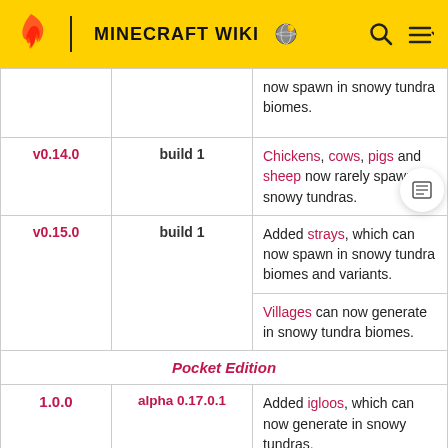MINECRAFT WIKI
| Version | Build/Alpha | Description |
| --- | --- | --- |
|  |  | now spawn in snowy tundra biomes. |
| v0.14.0 | build 1 | Chickens, cows, pigs and sheep now rarely spawn in snowy tundras. |
| v0.15.0 | build 1 | Added strays, which can now spawn in snowy tundra biomes and variants.
Villages can now generate in snowy tundra biomes. |
| Pocket Edition |  |  |
| 1.0.0 | alpha 0.17.0.1 | Added igloos, which can now generate in snowy tundras. |